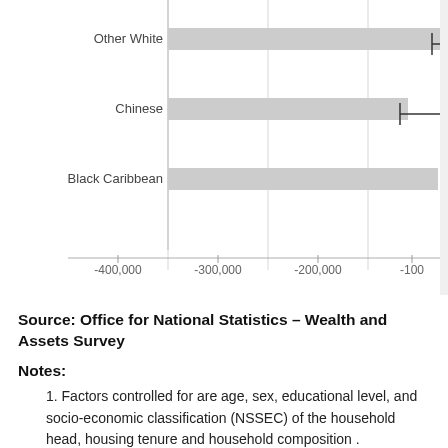[Figure (continuous-plot): Partial horizontal bar chart showing ethnicity groups (Other White, Chinese, Black Caribbean) on the y-axis and values from -400,000 to -100 on the x-axis. Bars extend to the right toward negative values near 0, with error bars visible at right ends. Chart is cropped at top and right.]
Source: Office for National Statistics – Wealth and Assets Survey
Notes:
Factors controlled for are age, sex, educational level, and socio-economic classification (NSSEC) of the household head, housing tenure and household composition .
Download this chart